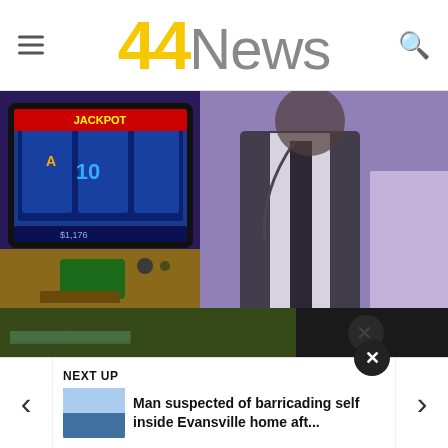44News
[Figure (photo): Casino slot machine screen on left showing colorful slot reels, and a person in a suit with lanyard badge on right in a casino setting, purple-toned image]
3 Steps to Tell a Slot Might Be Close to Hitting the Jackpot
BuzzDaily Winners
[Figure (photo): Bottom strip showing partially visible images: left image appears to be outdoor foliage/trees, right image appears to be dark outdoor scene]
NEXT UP
[Figure (photo): Small thumbnail image of blue/white toned scene]
Man suspected of barricading self inside Evansville home aft...